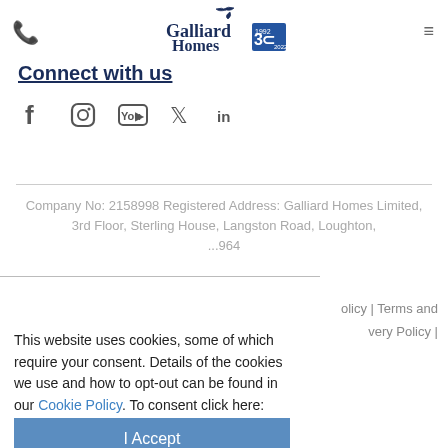Galliard Homes
Connect with us
[Figure (other): Social media icons: Facebook, Instagram, YouTube, Twitter, LinkedIn]
Company No: 2158998 Registered Address: Galliard Homes Limited, 3rd Floor, Sterling House, Langston Road, Loughton, ...964
olicy | Terms and very Policy |
This website uses cookies, some of which require your consent. Details of the cookies we use and how to opt-out can be found in our Cookie Policy. To consent click here:
I Accept